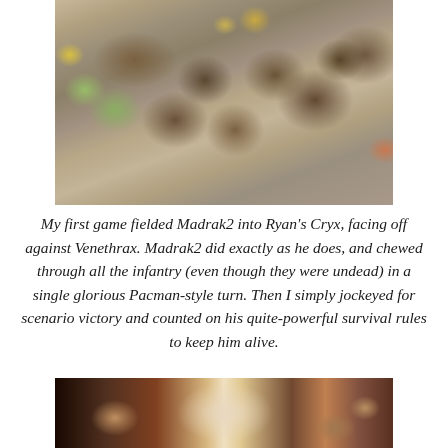[Figure (photo): Top-down photograph of a tabletop miniature wargame in progress on a grey carpet/mat. Dark armored miniature figures are arranged on the playing surface, with a yellow disc, terrain pieces including rocky formations with yellow-green lichen, and a tan/beige objective marker visible.]
My first game fielded Madrak2 into Ryan's Cryx, facing off against Venethrax. Madrak2 did exactly as he does, and chewed through all the infantry (even though they were undead) in a single glorious Pacman-style turn. Then I simply jockeyed for scenario victory and counted on his quite-powerful survival rules to keep him alive.
[Figure (photo): Partial photograph at the bottom of the page showing a tabletop gaming scene with dark lighting, featuring miniature figures and what appears to be a white/skull-like model among darker pieces.]